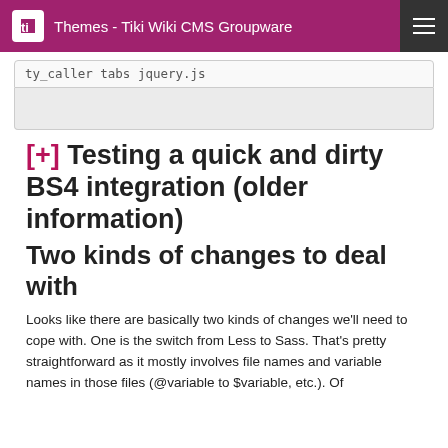Themes - Tiki Wiki CMS Groupware
ty_caller tabs jquery.js
[+] Testing a quick and dirty BS4 integration (older information)
Two kinds of changes to deal with
Looks like there are basically two kinds of changes we'll need to cope with. One is the switch from Less to Sass. That's pretty straightforward as it mostly involves file names and variable names in those files (@variable to $variable, etc.). Of